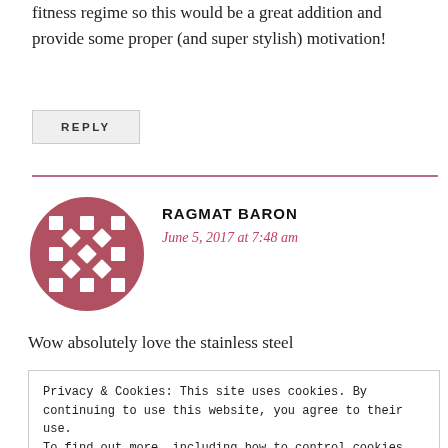fitness regime so this would be a great addition and provide some proper (and super stylish) motivation!
REPLY
RAGMAT BARON
June 5, 2017 at 7:48 am
Wow absolutely love the stainless steel
Privacy & Cookies: This site uses cookies. By continuing to use this website, you agree to their use.
To find out more, including how to control cookies, see here: Cookie Policy
Close and accept
June 5, 2017 at 8:16 am